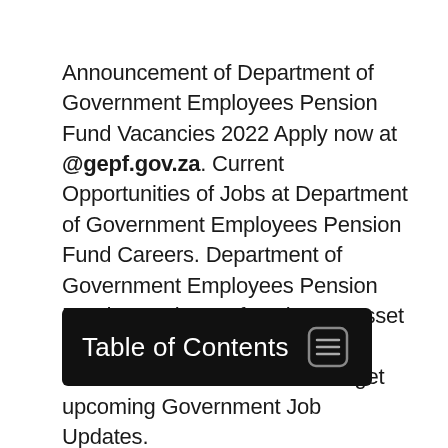Announcement of Department of Government Employees Pension Fund Vacancies 2022 Apply now at @gepf.gov.za. Current Opportunities of Jobs at Department of Government Employees Pension Fund Careers. Department of Government Employees Pension Fund Recruitment for Director Asset Management Jobs in Pretoria. Subscribe to this newsletter to get upcoming Government Job Updates.
Table of Contents